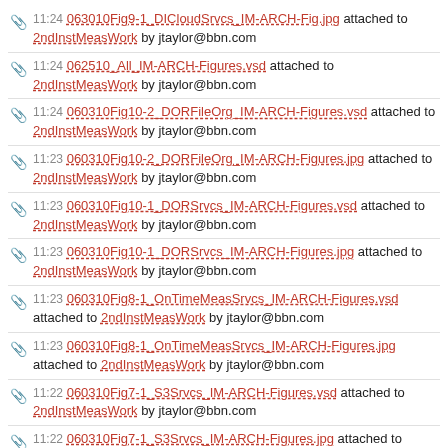11:24 063010Fig9-1_DICloudSrvcs_IM-ARCH-Fig.jpg attached to 2ndInstMeasWork by jtaylor@bbn.com
11:24 062510_All_IM-ARCH-Figures.vsd attached to 2ndInstMeasWork by jtaylor@bbn.com
11:24 060310Fig10-2_DORFileOrg_IM-ARCH-Figures.vsd attached to 2ndInstMeasWork by jtaylor@bbn.com
11:23 060310Fig10-2_DORFileOrg_IM-ARCH-Figures.jpg attached to 2ndInstMeasWork by jtaylor@bbn.com
11:23 060310Fig10-1_DORSrvcs_IM-ARCH-Figures.vsd attached to 2ndInstMeasWork by jtaylor@bbn.com
11:23 060310Fig10-1_DORSrvcs_IM-ARCH-Figures.jpg attached to 2ndInstMeasWork by jtaylor@bbn.com
11:23 060310Fig8-1_OnTimeMeasSrvcs_IM-ARCH-Figures.vsd attached to 2ndInstMeasWork by jtaylor@bbn.com
11:23 060310Fig8-1_OnTimeMeasSrvcs_IM-ARCH-Figures.jpg attached to 2ndInstMeasWork by jtaylor@bbn.com
11:22 060310Fig7-1_S3Srvcs_IM-ARCH-Figures.vsd attached to 2ndInstMeasWork by jtaylor@bbn.com
11:22 060310Fig7-1_S3Srvcs_IM-ARCH-Figures.jpg attached to 2ndInstMeasWork by jtaylor@bbn.com
11:22 060310Fig6-2_perfSONARSchema_IM-ARCH-Figures.vsd attached to 2ndInstMeasWork by jtaylor@bbn.com